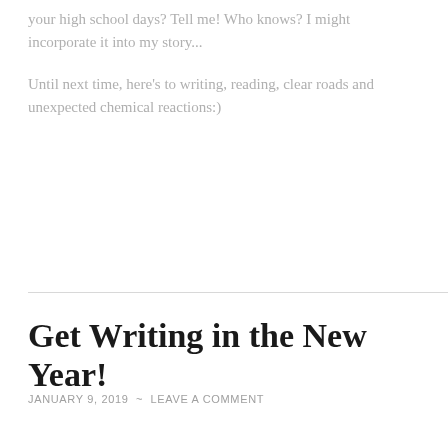your high school days? Tell me! Who knows? I might incorporate it into my story...
Until next time, here's to writing, reading, clear roads and unexpected chemical reactions:)
Get Writing in the New Year!
JANUARY 9, 2019 ~ LEAVE A COMMENT